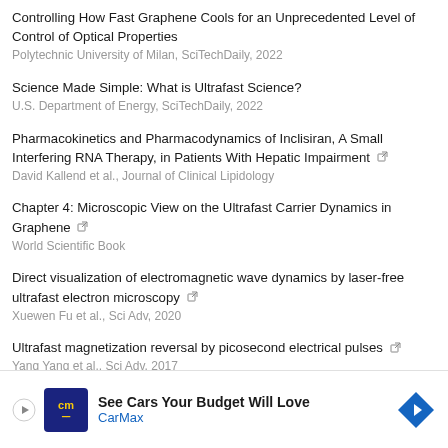Controlling How Fast Graphene Cools for an Unprecedented Level of Control of Optical Properties
Polytechnic University of Milan, SciTechDaily, 2022
Science Made Simple: What is Ultrafast Science?
U.S. Department of Energy, SciTechDaily, 2022
Pharmacokinetics and Pharmacodynamics of Inclisiran, A Small Interfering RNA Therapy, in Patients With Hepatic Impairment [external link]
David Kallend et al., Journal of Clinical Lipidology
Chapter 4: Microscopic View on the Ultrafast Carrier Dynamics in Graphene [external link]
World Scientific Book
Direct visualization of electromagnetic wave dynamics by laser-free ultrafast electron microscopy [external link]
Xuewen Fu et al., Sci Adv, 2020
Ultrafast magnetization reversal by picosecond electrical pulses [external link]
Yang Yang et al., Sci Adv, 2017
Coherent scanning tunneling microscopy [external link]
[Figure (infographic): Advertisement banner for CarMax: See Cars Your Budget Will Love, with CarMax logo and blue diamond arrow icon]